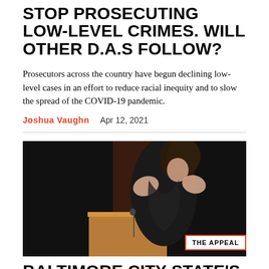STOP PROSECUTING LOW-LEVEL CRIMES. WILL OTHER D.A.S FOLLOW?
Prosecutors across the country have begun declining low-level cases in an effort to reduce racial inequity and to slow the spread of the COVID-19 pandemic.
Joshua Vaughn   Apr 12, 2021
[Figure (photo): A woman standing at a wooden podium gesturing with both hands raised, against a dark background. The Appeal logo watermark appears in the bottom right corner.]
BALTIMORE CITY STATE'S ATTORNEY WILL